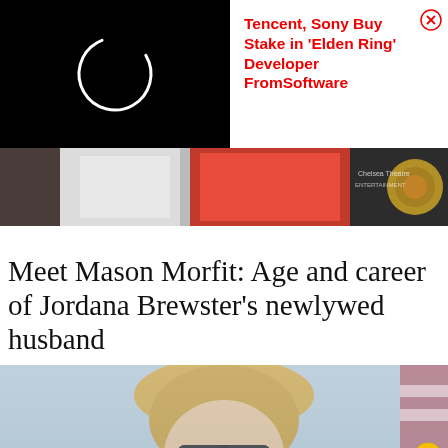[Figure (screenshot): Black background loading spinner (circle arc in white) — advertisement panel left side]
Tencent, Sony Buy Stake in 'Elden Ring' Developer FromSoftware
[Figure (photo): Horizontal photo strip showing people in white and red outfits with decorative background]
Meet Mason Morfit: Age and career of Jordana Brewster's newlywed husband
[Figure (photo): Partial photo of a blonde woman wearing large dark sunglasses against a light background]
Sterling  OPEN  6AM–12AM
45131 Columbia Place, Sterling